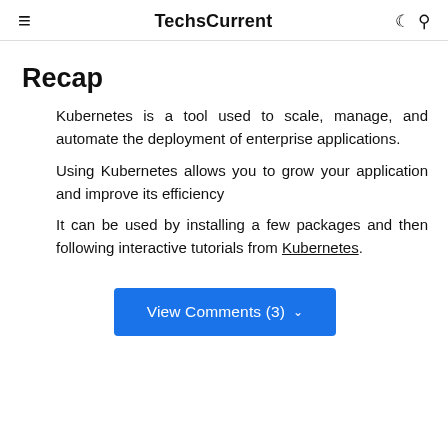≡  TechsCurrent  ☾ 🔍
Recap
Kubernetes is a tool used to scale, manage, and automate the deployment of enterprise applications.
Using Kubernetes allows you to grow your application and improve its efficiency
It can be used by installing a few packages and then following interactive tutorials from Kubernetes.
View Comments (3)